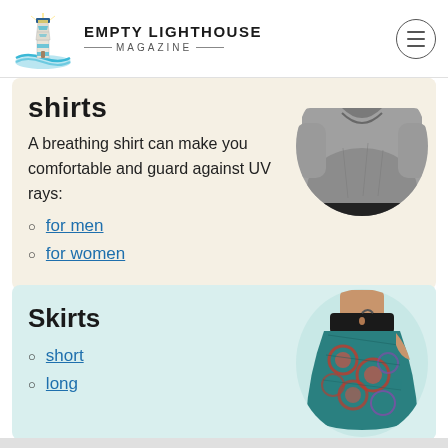EMPTY LIGHTHOUSE MAGAZINE
shirts
A breathing shirt can make you comfortable and guard against UV rays:
for men
for women
[Figure (photo): Man wearing a grey t-shirt]
Skirts
short
long
[Figure (photo): Woman wearing a colorful teal and red patterned skirt]